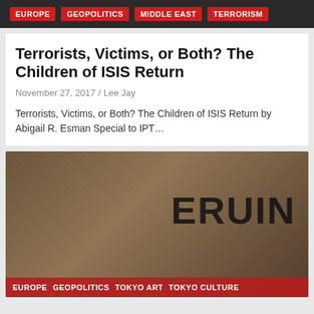EUROPE | GEOPOLITICS | MIDDLE EAST | TERRORISM
Terrorists, Victims, or Both? The Children of ISIS Return
November 27, 2017 / Lee Jay
Terrorists, Victims, or Both? The Children of ISIS Return by Abigail R. Esman Special to IPT…
[Figure (photo): Grunge artwork showing a damaged building exterior with graffiti including the word ERGUN/ERDUN in large letters, and various tags in red and black. Article tags at bottom: EUROPE, GEOPOLITICS, TOKYO ART, TOKYO CULTURE]
EUROPE | GEOPOLITICS | TOKYO ART | TOKYO CULTURE